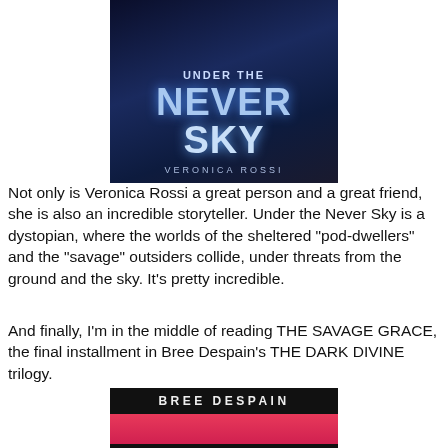[Figure (photo): Book cover of 'Under the Never Sky' by Veronica Rossi — dark blue/navy background with large stylized title text and author name at bottom]
Not only is Veronica Rossi a great person and a great friend, she is also an incredible storyteller. Under the Never Sky is a dystopian, where the worlds of the sheltered "pod-dwellers" and the "savage" outsiders collide, under threats from the ground and the sky. It's pretty incredible.
And finally, I'm in the middle of reading THE SAVAGE GRACE, the final installment in Bree Despain's THE DARK DIVINE trilogy.
[Figure (photo): Book cover of a Bree Despain novel — dark/black background with author name 'BREE DESPAIN' in white letters and a woman in a red/pink dress visible at the bottom portion]